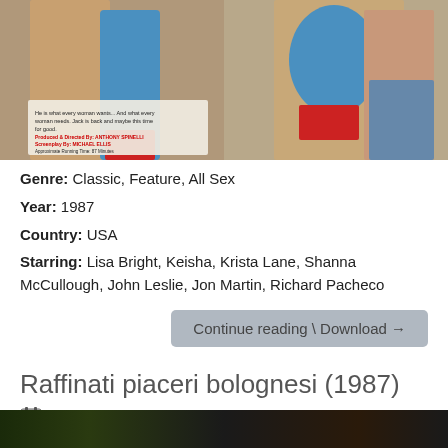[Figure (photo): Two side-by-side movie cover images showing figures in blue and red outfits]
Genre: Classic, Feature, All Sex
Year: 1987
Country: USA
Starring: Lisa Bright, Keisha, Krista Lane, Shanna McCullough, John Leslie, Jon Martin, Richard Pacheco
Continue reading \ Download →
Raffinati piaceri bolognesi (1987)
Published March 4, 2022 | By Kurtz
[Figure (photo): Partial view of another movie cover at the bottom of the page]